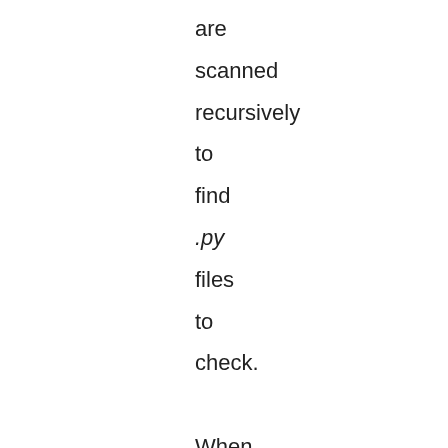are scanned recursively to find .py files to check.

When I ran tabnanny across the PyMOTW source code, I found one old module